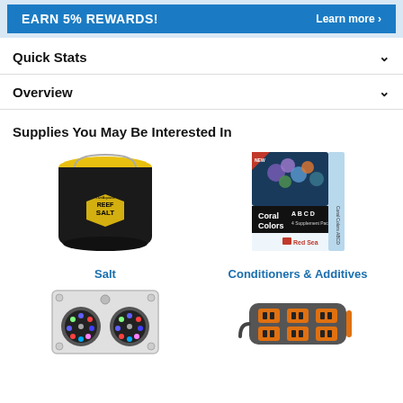[Figure (screenshot): Blue banner with text EARN 5% REWARDS! and Learn more link]
Quick Stats
Overview
Supplies You May Be Interested In
[Figure (photo): Black bucket of LiveAquaria Reef Salt with yellow lid]
Salt
[Figure (photo): Red Sea Coral Colors A B C D 4 Supplement Pack box]
Conditioners & Additives
[Figure (photo): LED aquarium lighting panel with two round LED fixtures]
[Figure (photo): Orange and grey power strip / outlet extender device]